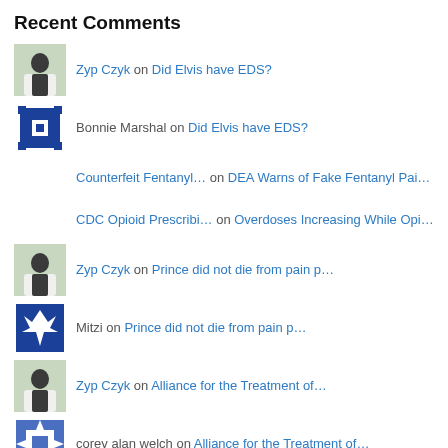Recent Comments
Zyp Czyk on Did Elvis have EDS?
Bonnie Marshal on Did Elvis have EDS?
Counterfeit Fentanyl… on DEA Warns of Fake Fentanyl Pai…
CDC Opioid Prescribi… on Overdoses Increasing While Opi…
Zyp Czyk on Prince did not die from pain p…
Mitzi on Prince did not die from pain p…
Zyp Czyk on Alliance for the Treatment of…
corey alan welch on Alliance for the Treatment of…